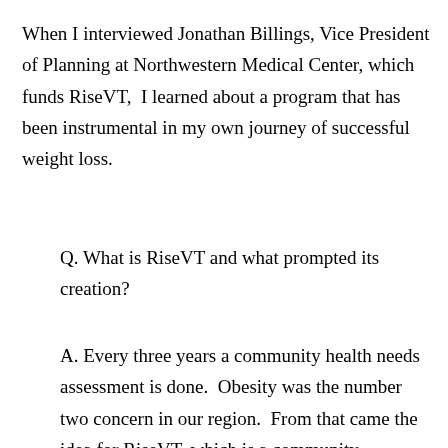When I interviewed Jonathan Billings, Vice President of Planning at Northwestern Medical Center, which funds RiseVT,  I learned about a program that has been instrumental in my own journey of successful weight loss.
Q. What is RiseVT and what prompted its creation?
A. Every three years a community health needs assessment is done.  Obesity was the number two concern in our region.  From that came the idea for RiseVT, which is a community collaborative